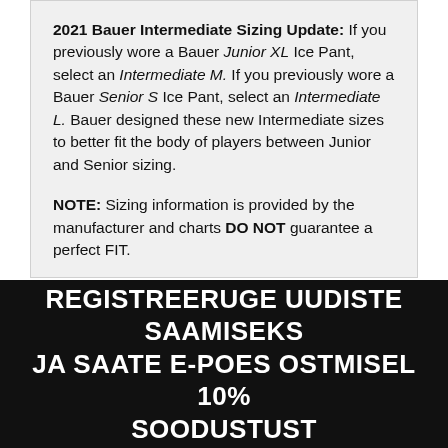2021 Bauer Intermediate Sizing Update: If you previously wore a Bauer Junior XL Ice Pant, select an Intermediate M. If you previously wore a Bauer Senior S Ice Pant, select an Intermediate L. Bauer designed these new Intermediate sizes to better fit the body of players between Junior and Senior sizing.

NOTE: Sizing information is provided by the manufacturer and charts DO NOT guarantee a perfect FIT.
REGISTREERUGE UUDISTE SAAMISEKS JA SAATE E-POES OSTMISEL 10% SOODUSTUST